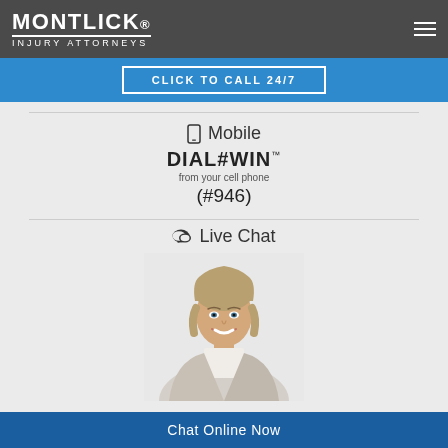MONTLICK INJURY ATTORNEYS
CLICK TO CALL 24/7
Mobile DIAL#WIN™ from your cell phone (#946)
Live Chat
[Figure (photo): Smiling professional woman with light hair wearing a white/cream blazer, serving as a live chat representative for Montlick Injury Attorneys]
Chat Online Now